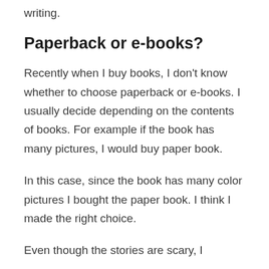writing.
Paperback or e-books?
Recently when I buy books, I don't know whether to choose paperback or e-books. I usually decide depending on the contents of books. For example if the book has many pictures, I would buy paper book.
In this case, since the book has many color pictures I bought the paper book. I think I made the right choice.
Even though the stories are scary, I